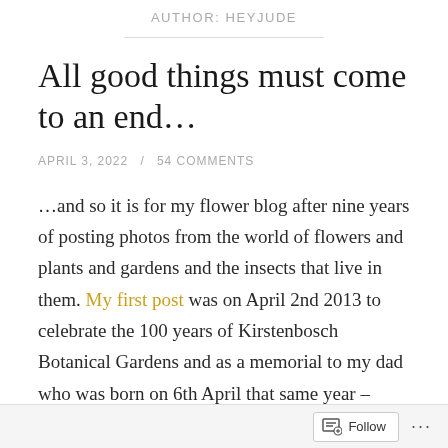AUTHOR: HEYJUDE
All good things must come to an end…
APRIL 3, 2022 / 54 COMMENTS
…and so it is for my flower blog after nine years of posting photos from the world of flowers and plants and gardens and the insects that live in them. My first post was on April 2nd 2013 to celebrate the 100 years of Kirstenbosch Botanical Gardens and as a memorial to my dad who was born on 6th April that same year – 1913. Sadly he didn't reach that milestone, but he was fortunate